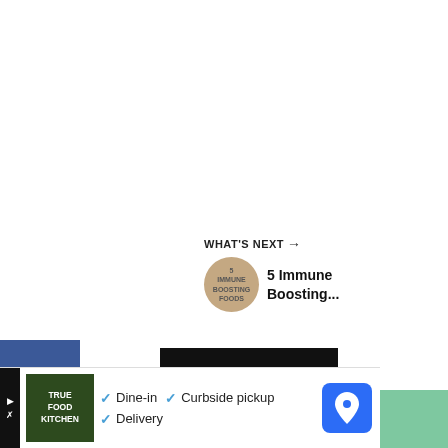[Figure (screenshot): Social media share sidebar with Facebook (dark blue), Twitter (light blue), and Pinterest (red) buttons showing respective icons]
[Figure (screenshot): Teal circular heart/like button with 3.2K count label below it, and a white circular share button beneath]
[Figure (screenshot): What's Next panel showing a circular thumbnail for '5 Immune Boosting...' article with arrow]
[Figure (screenshot): Advertisement bar at bottom for True Food Kitchen showing Dine-in, Curbside pickup, Delivery options with checkmarks and map icon]